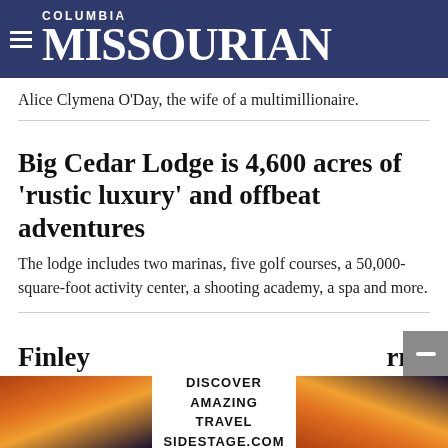COLUMBIA MISSOURIAN
Alice Clymena O'Day, the wife of a multimillionaire.
Big Cedar Lodge is 4,600 acres of 'rustic luxury' and offbeat adventures
The lodge includes two marinas, five golf courses, a 50,000-square-foot activity center, a shooting academy, a spa and more.
Roaring River State Park is one of Missouri's most visited attractions
Most come for the rainbow trout-stocked river that flows through the park, but others are attracted by the hiking trails.
Finley
[Figure (photo): Advertisement banner with sunset/canyon images and text: DISCOVER AMAZING TRAVEL SIDESTAGE.COM]
rm-